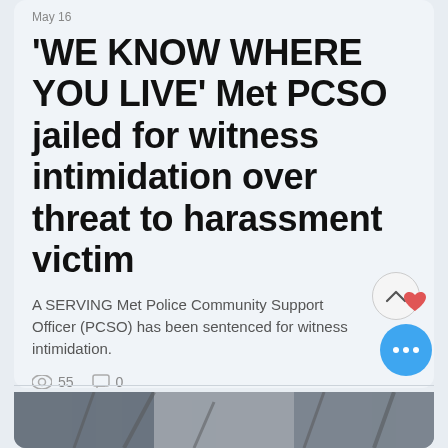May 16
'WE KNOW WHERE YOU LIVE' Met PCSO jailed for witness intimidation over threat to harassment victim
A SERVING Met Police Community Support Officer (PCSO) has been sentenced for witness intimidation.
55 views · 0 comments
[Figure (photo): Bottom image strip showing a partial scene, partially visible at the bottom of the news card]